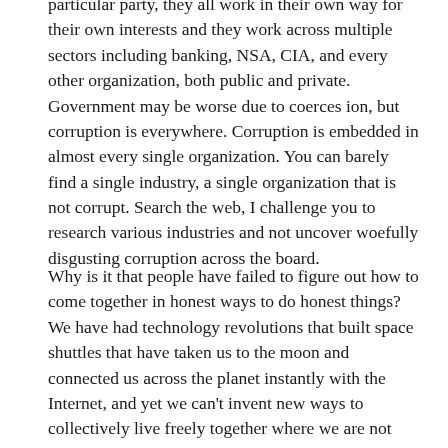particular party, they all work in their own way for their own interests and they work across multiple sectors including banking, NSA, CIA, and every other organization, both public and private. Government may be worse due to coerces ion, but corruption is everywhere. Corruption is embedded in almost every single organization. You can barely find a single industry, a single organization that is not corrupt. Search the web, I challenge you to research various industries and not uncover woefully disgusting corruption across the board.
Why is it that people have failed to figure out how to come together in honest ways to do honest things? We have had technology revolutions that built space shuttles that have taken us to the moon and connected us across the planet instantly with the Internet, and yet we can't invent new ways to collectively live freely together where we are not dominating, exploiting, or destroying each other. When do we put energy and money into inventing a new social, economic, political, organizational structure that is healthier and not just about the...